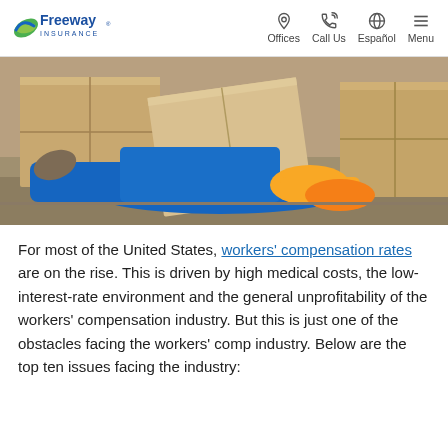Freeway Insurance | Offices | Call Us | Español | Menu
[Figure (photo): Worker in blue coveralls fallen on the floor surrounded by cardboard boxes, wearing yellow gloves]
For most of the United States, workers' compensation rates are on the rise. This is driven by high medical costs, the low-interest-rate environment and the general unprofitability of the workers' compensation industry. But this is just one of the obstacles facing the workers' comp industry. Below are the top ten issues facing the industry: